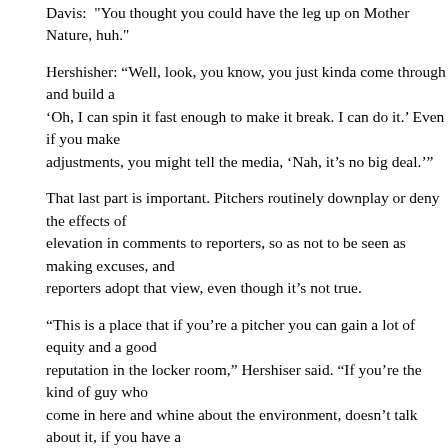Davis: "You thought you could have the leg up on Mother Nature, huh."
Hershisher: "Well, look, you know, you just kinda come through and build a 'Oh, I can spin it fast enough to make it break. I can do it.' Even if you make adjustments, you might tell the media, 'Nah, it’s no big deal.'’’
That last part is important. Pitchers routinely downplay or deny the effects of elevation in comments to reporters, so as not to be seen as making excuses, and reporters adopt that view, even though it’s not true.
“This is a place that if you’re a pitcher you can gain a lot of equity and a good reputation in the locker room,” Hershiser said. “If you’re the kind of guy who come in here and whine about the environment, doesn’t talk about it, if you have a rough outing you don’t worry about it. You take your beating, if you have to, with the staff and your teammates. So this is a place that can expose some character.
Showing character is what they call denying reality in baseball because, from a player’s point of view, there’s nothing to be done about it. It’s similar to complaining about the weather. Both teams have to deal with it, right?
Right, except the Rocks deal with it 81 times a year, in 50 percent of their games; no other team deals with it more than 10, or 6 percent of their games.
It affects the hitters, too, a fact that has escaped most national baseball analysts for years. Each new season, some intrepid investigative reporter discovers that Rockies hitters have ginormous home/road splits. Charlie Blackmon’s .388/.256 batting average split this season as of this writing is not unusual. Such splits are often